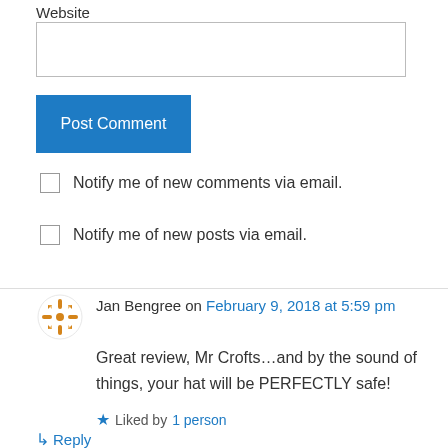Website
Post Comment
Notify me of new comments via email.
Notify me of new posts via email.
Jan Bengree on February 9, 2018 at 5:59 pm
Great review, Mr Crofts…and by the sound of things, your hat will be PERFECTLY safe!
Liked by 1 person
Reply